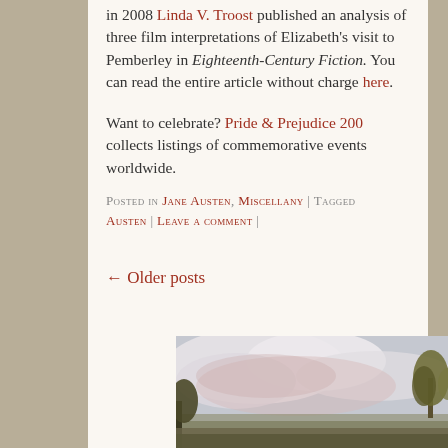in 2008 Linda V. Troost published an analysis of three film interpretations of Elizabeth's visit to Pemberley in Eighteenth-Century Fiction. You can read the entire article without charge here.
Want to celebrate? Pride & Prejudice 200 collects listings of commemorative events worldwide.
Posted in Jane Austen, Miscellany | Tagged Austen | Leave a comment |
← Older posts
[Figure (illustration): Landscape painting showing cloudy sky with trees, a pastoral English countryside scene in watercolour style]